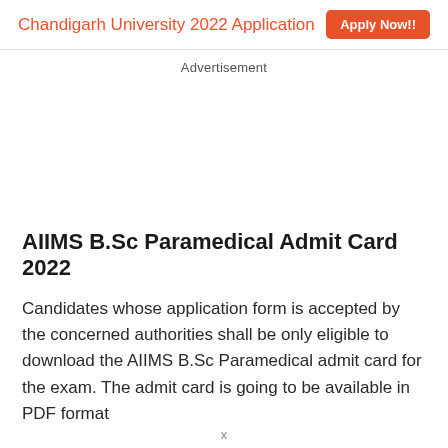Chandigarh University 2022 Application  Apply Now!!
Advertisement
AIIMS B.Sc Paramedical Admit Card 2022
Candidates whose application form is accepted by the concerned authorities shall be only eligible to download the AIIMS B.Sc Paramedical admit card for the exam. The admit card is going to be available in PDF format